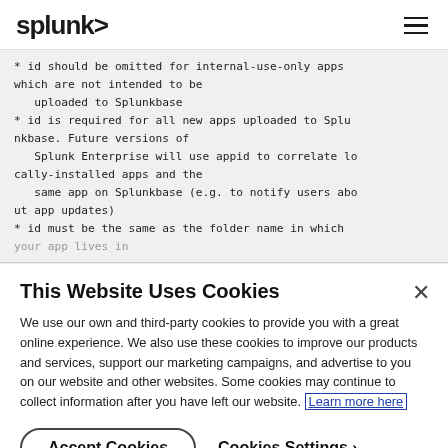splunk>
* id should be omitted for internal-use-only apps which are not intended to be
   uploaded to Splunkbase
* id is required for all new apps uploaded to Splunkbase. Future versions of
   Splunk Enterprise will use appid to correlate locally-installed apps and the
   same app on Splunkbase (e.g. to notify users about app updates)
* id must be the same as the folder name in which your app lives in
This Website Uses Cookies
We use our own and third-party cookies to provide you with a great online experience. We also use these cookies to improve our products and services, support our marketing campaigns, and advertise to you on our website and other websites. Some cookies may continue to collect information after you have left our website. Learn more here
Accept Cookies
Cookies Settings ›